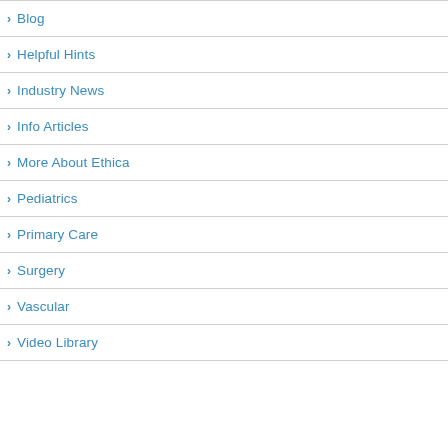Blog
Helpful Hints
Industry News
Info Articles
More About Ethica
Pediatrics
Primary Care
Surgery
Vascular
Video Library